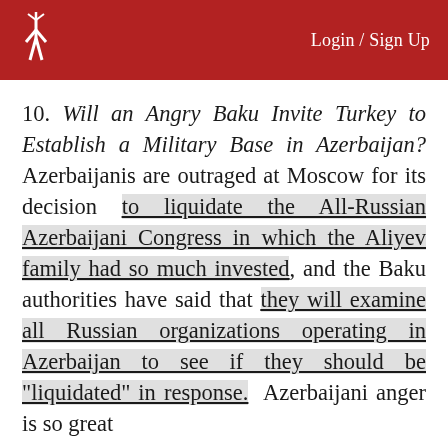Login / Sign Up
10. Will an Angry Baku Invite Turkey to Establish a Military Base in Azerbaijan? Azerbaijanis are outraged at Moscow for its decision to liquidate the All-Russian Azerbaijani Congress in which the Aliyev family had so much invested, and the Baku authorities have said that they will examine all Russian organizations operating in Azerbaijan to see if they should be "liquidated" in response. Azerbaijani anger is so great